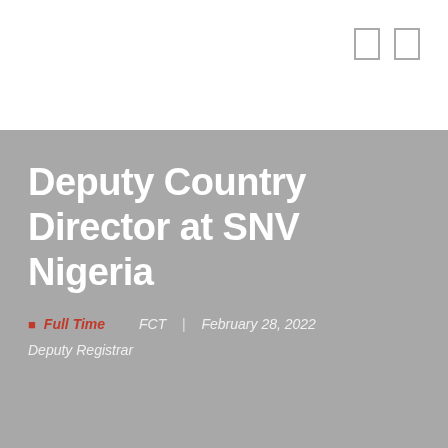[Figure (other): Two small rectangle icon buttons in the top right corner of a white header bar]
Deputy Country Director at SNV Nigeria
Full Time   FCT   |   February 28, 2022
Deputy Registrar